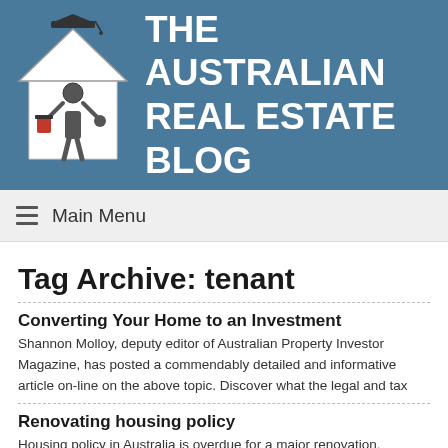[Figure (logo): The Australian Real Estate Blog logo — a cartoon house with a graduation cap and a figure holding a red cup]
THE AUSTRALIAN REAL ESTATE BLOG
≡ Main Menu
Tag Archive: tenant
Converting Your Home to an Investment
Shannon Molloy, deputy editor of Australian Property Investor Magazine, has posted a commendably detailed and informative article on-line on the above topic. Discover what the legal and tax
Renovating housing policy
Housing policy in Australia is overdue for a major renovation. Government tax and welfare policies, by favouring homeowners and property investors over people who rent, are increasing the divide